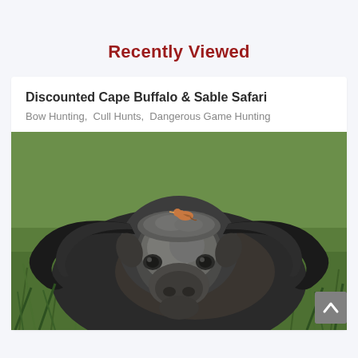Recently Viewed
Discounted Cape Buffalo & Sable Safari
Bow Hunting,  Cull Hunts,  Dangerous Game Hunting
[Figure (photo): Close-up photograph of a Cape Buffalo facing the camera, with large curved horns and a small bird (oxpecker) perched on its head, standing in green grass. The buffalo has a dark grey-black body with a mottled grey face.]